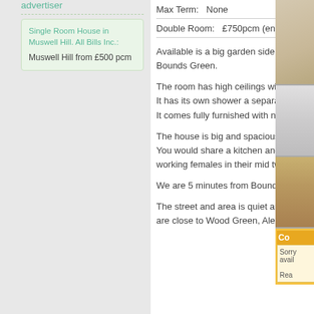advertiser
Single Room House in Muswell Hill. All Bills Inc.:
Muswell Hill from £500 pcm
Max Term:   None
Double Room:   £750pcm (en suite)
Available is a big garden side double room with en suite, in a spacious house in Bounds Green.

The room has high ceilings with lots of natural light.
It has its own shower a separate toilet.
It comes fully furnished with new bed, wardrobe, chest of drawers and WIFI.

The house is big and spacious with high ceilings and long corridors.
You would share a kitchen and separate dining room, with housemates who are all working females in their mid twenties.

We are 5 minutes from Bounds Green station, Bowes rd over ground station.

The street and area is quiet and safe with convenience stores and lots of parks. We are close to Wood Green, Alexandra Palace and Muswell Hill.
[Figure (photo): Three room photos shown in a vertical strip on the right side]
Co... Sorry... avail... Rea...